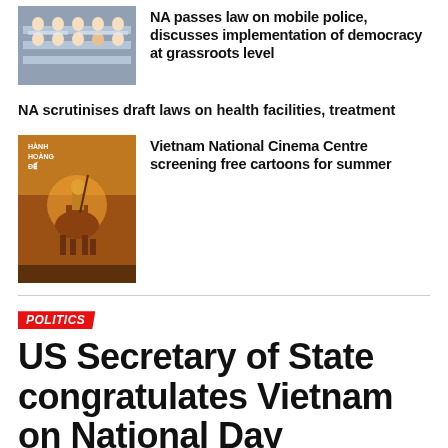[Figure (photo): People seated at a legislative assembly session, overhead view showing delegates in formal attire]
NA passes law on mobile police, discusses implementation of democracy at grassroots level
NA scrutinises draft laws on health facilities, treatment
[Figure (photo): Movie poster for a Vietnamese animated film featuring a warrior on horseback with a golden background]
Vietnam National Cinema Centre screening free cartoons for summer
POLITICS
US Secretary of State congratulates Vietnam on National Day